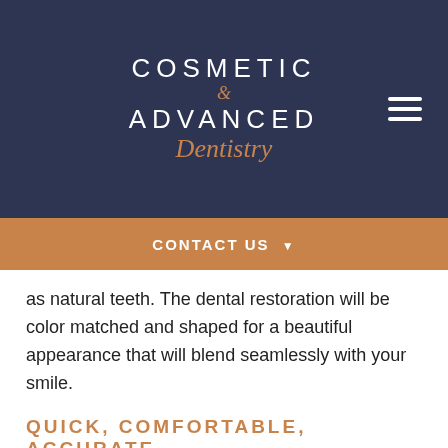[Figure (logo): Cosmetic & Advanced Dentistry logo in white and orange text on dark navy background]
CONTACT US ▼
as natural teeth. The dental restoration will be color matched and shaped for a beautiful appearance that will blend seamlessly with your smile.
QUICK, COMFORTABLE, ACCURATE
Receiving a dental restoration or dental crown designed and milled by the CEREC machine is a virtually painless procedure. CEREC eliminates the need for bulky, awkward and messy impression trays. Using a handheld digital camera, Dr. Lazer can take images of your mouth. These